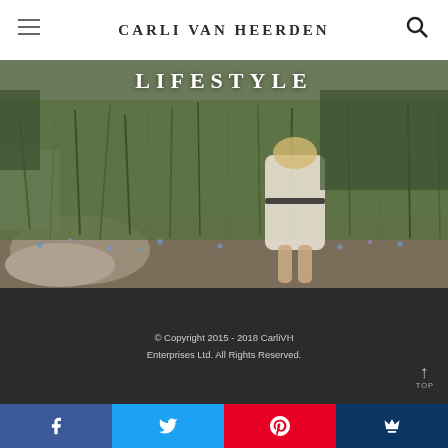CARLI VAN HEERDEN
[Figure (photo): Outdoor nature/lifestyle photo showing a woman in a white dress with a dark belt standing among wildflowers and tall grass, with rocks and a stream visible. The word LIFESTYLE appears as a text overlay at the top.]
© Copyright 2015 - 2018 CarliVH Enterprises Ltd. All Rights Reserved.